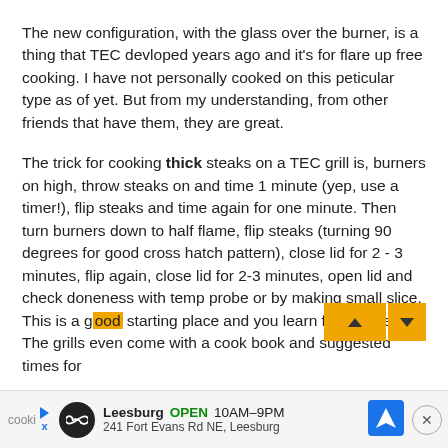The new configuration, with the glass over the burner, is a thing that TEC devloped years ago and it's for flare up free cooking. I have not personally cooked on this peticular type as of yet. But from my understanding, from other friends that have them, they are great.
The trick for cooking thick steaks on a TEC grill is, burners on high, throw steaks on and time 1 minute (yep, use a timer!), flip steaks and time again for one minute. Then turn burners down to half flame, flip steaks (turning 90 degrees for good cross hatch pattern), close lid for 2 - 3 minutes, flip again, close lid for 2-3 minutes, open lid and check doneness with temp probe or by making small slice. This is a good starting place and you learn from there. The grills even come with a cook book and suggested times for
[Figure (screenshot): Ad banner at bottom: Leesburg store ad showing OPEN 10AM-9PM, 241 Fort Evans Rd NE Leesburg, with navigation icon and close button. Partial word 'cooki' visible at left edge.]